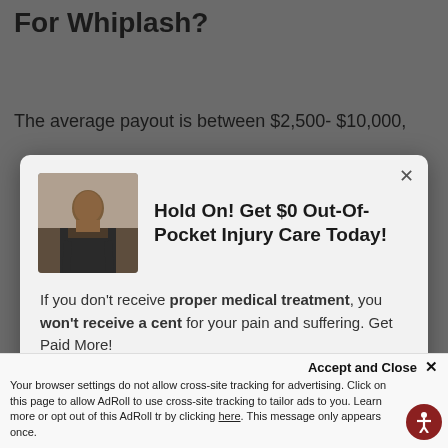For Whiplash?
The average payout is between $2,500- $10,000,
[Figure (screenshot): Modal popup advertisement with a photo of a man in a suit, titled 'Hold On! Get $0 Out-Of-Pocket Injury Care Today!' with body text about medical treatment and an attorney referral at Arrowhead Clinic, and a dark red button partially visible.]
because our team works with the insurance
Accept and Close ✕
Your browser settings do not allow cross-site tracking for advertising. Click on this page to allow AdRoll to use cross-site tracking to tailor ads to you. Learn more or opt out of this AdRoll tracking by clicking here. This message only appears once.